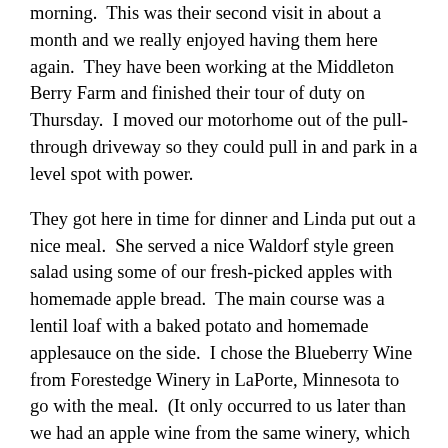morning.  This was their second visit in about a month and we really enjoyed having them here again.  They have been working at the Middleton Berry Farm and finished their tour of duty on Thursday.  I moved our motorhome out of the pull-through driveway so they could pull in and park in a level spot with power.
They got here in time for dinner and Linda put out a nice meal.  She served a nice Waldorf style green salad using some of our fresh-picked apples with homemade apple bread.  The main course was a lentil loaf with a baked potato and homemade applesauce on the side.  I chose the Blueberry Wine from Forestedge Winery in LaPorte, Minnesota to go with the meal.  (It only occurred to us later than we had an apple wine from the same winery, which would have really completed our apple-themed meal.)  Forestedge Winery is owned by Paul and Sharon Shuster, who are members of our FMCA Freethinkers associate chapter as are Ed and Betty.